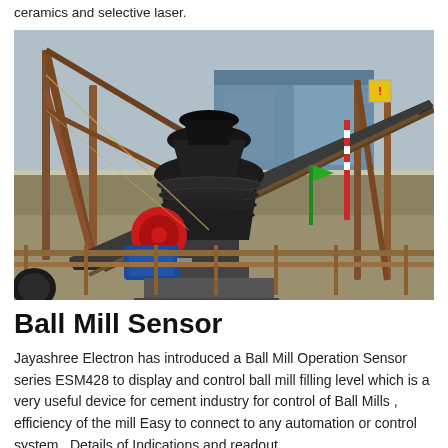ceramics and selective laser.
[Figure (photo): Industrial ball mill / crushing equipment on a construction or mining site. Shows heavy machinery with metal framework, conveyor belts, a cone crusher, an electric motor with red flywheel and blue motor casing, and an industrial building in the background.]
Ball Mill Sensor
Jayashree Electron has introduced a Ball Mill Operation Sensor series ESM428 to display and control ball mill filling level which is a very useful device for cement industry for control of Ball Mills , efficiency of the mill Easy to connect to any automation or control system , Details of Indications and readout